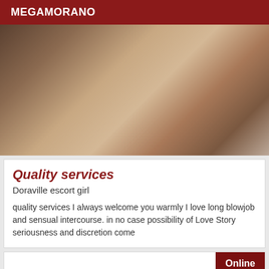MEGAMORANO
[Figure (photo): Close-up photo of two people lying on a bed, one wearing a beige/cream colored garment]
Quality services
Doraville escort girl
quality services I always welcome you warmly I love long blowjob and sensual intercourse. in no case possibility of Love Story seriousness and discretion come
Online